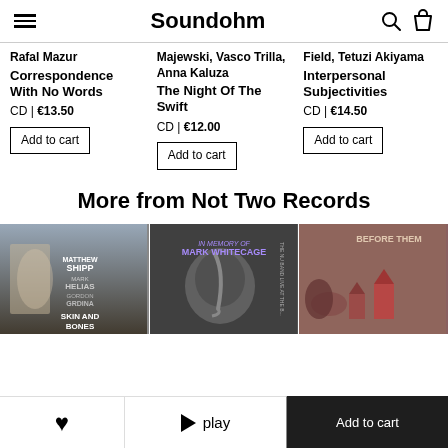Soundohm
Rafal Mazur
Correspondence With No Words
CD | €13.50
Majewski, Vasco Trilla, Anna Kaluza
The Night Of The Swift
CD | €12.00
Field, Tetuzi Akiyama
Interpersonal Subjectivities
CD | €14.50
More from Not Two Records
[Figure (photo): Album cover: Matthew Shipp, Mark Helias, Gordon Grdina - Skin and Bones]
[Figure (photo): Album cover: In Memory of Mark Whitecage - The Nu Band Live]
[Figure (photo): Album cover: Before Them...]
♥   ▶ play   Add to cart